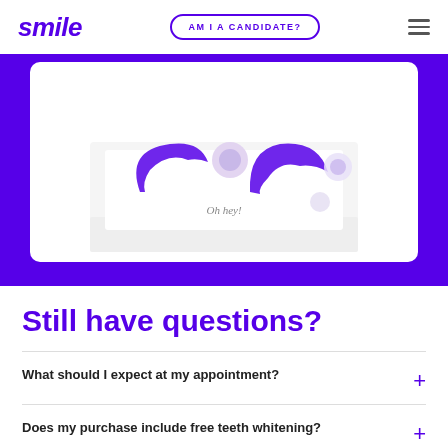smile | AM I A CANDIDATE?
[Figure (photo): Product kit in a white box showing blue dental aligners/trays and accessories, with 'Oh hey!' text on the box, displayed against a purple background]
Still have questions?
What should I expect at my appointment? +
Does my purchase include free teeth whitening? +